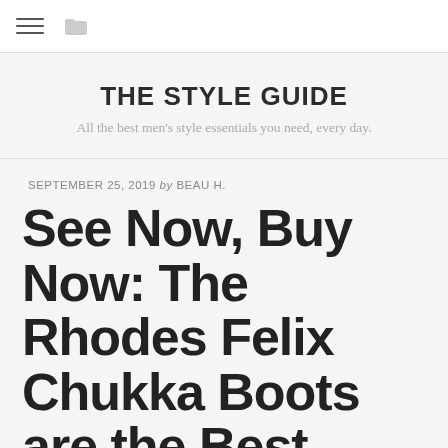≡  🗀
THE STYLE GUIDE
All the best men's style essentials you need, every day.
SEPTEMBER 25, 2019 by BEAU H.
See Now, Buy Now: The Rhodes Felix Chukka Boots are the Best Chukka Boots